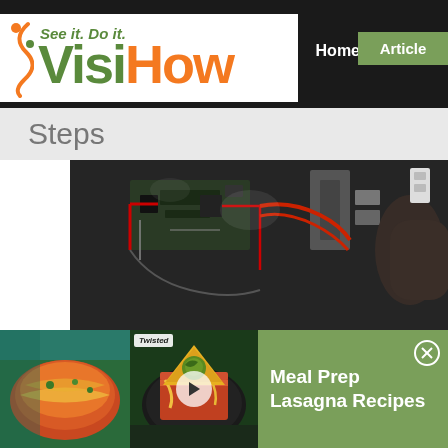VisiHow - See it. Do it. | Home | Articles
Steps
[Figure (screenshot): VisiHow website screenshot showing the Steps section with a video of computer hardware/circuit board internals, and an advertisement overlay for 'Meal Prep Lasagna Recipes' by Twisted with food photos on the left and a close button on the right]
Meal Prep Lasagna Recipes